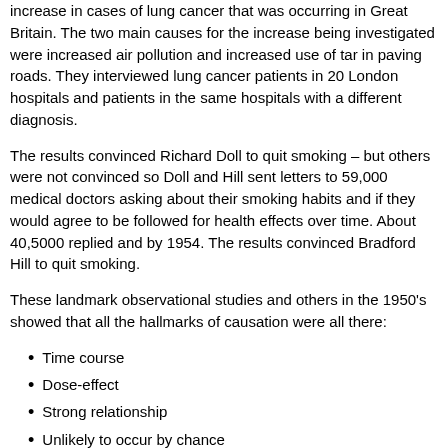increase in cases of lung cancer that was occurring in Great Britain. The two main causes for the increase being investigated were increased air pollution and increased use of tar in paving roads. They interviewed lung cancer patients in 20 London hospitals and patients in the same hospitals with a different diagnosis.
The results convinced Richard Doll to quit smoking – but others were not convinced so Doll and Hill sent letters to 59,000 medical doctors asking about their smoking habits and if they would agree to be followed for health effects over time. About 40,5000 replied and by 1954. The results convinced Bradford Hill to quit smoking.
These landmark observational studies and others in the 1950's showed that all the hallmarks of causation were all there:
Time course
Dose-effect
Strong relationship
Unlikely to occur by chance